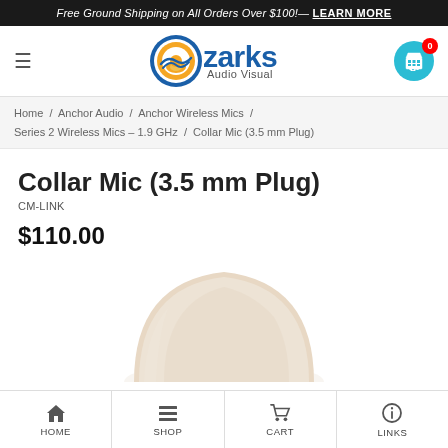Free Ground Shipping on All Orders Over $100! — LEARN MORE
[Figure (logo): Ozarks Audio Visual logo with circular sun/wave icon and blue text]
Home / Anchor Audio / Anchor Wireless Mics / Series 2 Wireless Mics – 1.9 GHz / Collar Mic (3.5 mm Plug)
Collar Mic (3.5 mm Plug)
CM-LINK
$110.00
[Figure (photo): Beige/cream colored collar microphone with rounded foam windscreen top, shown against white background]
HOME   SHOP   CART   LINKS